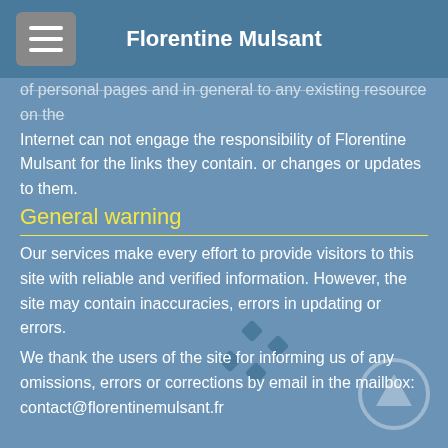Florentine Mulsant
of personal pages and in general to any existing resource on the Internet can not engage the responsibility of Florentine Mulsant for the links they contain. or changes or updates to them.
General warning
Our services make every effort to provide visitors to this site with reliable and verified information. However, the site may contain inaccuracies, errors in updating or errors.
We thank the users of the site for informing us of any omissions, errors or corrections by email in the mailbox: contact@florentinemulsant.fr